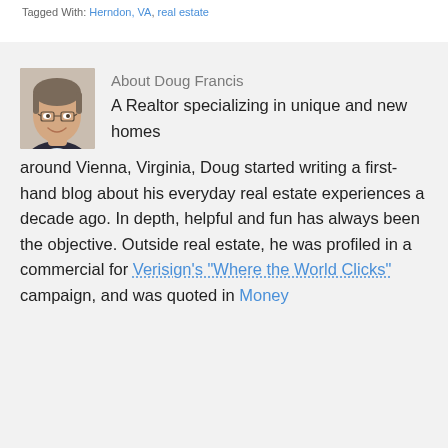Tagged With: Herndon, VA, real estate
[Figure (photo): Headshot of Doug Francis, a middle-aged man with glasses wearing a dark jacket, smiling]
About Doug Francis
A Realtor specializing in unique and new homes around Vienna, Virginia, Doug started writing a first-hand blog about his everyday real estate experiences a decade ago. In depth, helpful and fun has always been the objective. Outside real estate, he was profiled in a commercial for Verisign's "Where the World Clicks" campaign, and was quoted in Money